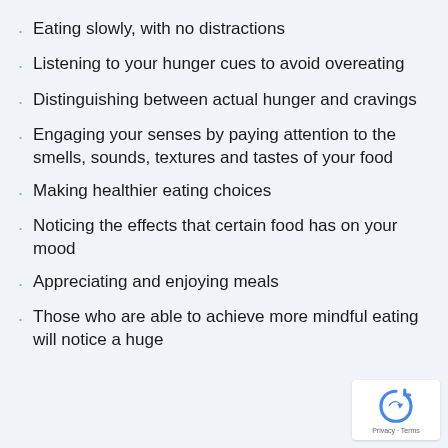Eating slowly, with no distractions
Listening to your hunger cues to avoid overeating
Distinguishing between actual hunger and cravings
Engaging your senses by paying attention to the smells, sounds, textures and tastes of your food
Making healthier eating choices
Noticing the effects that certain food has on your mood
Appreciating and enjoying meals
Those who are able to achieve more mindful eating will notice a huge